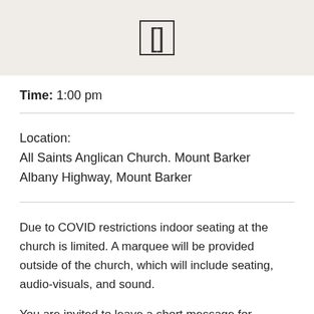[]
Time: 1:00 pm
Location:
All Saints Anglican Church. Mount Barker
Albany Highway, Mount Barker
Due to COVID restrictions indoor seating at the church is limited. A marquee will be provided outside of the church, which will include seating, audio-visuals, and sound.

You are invited to leave a short message for